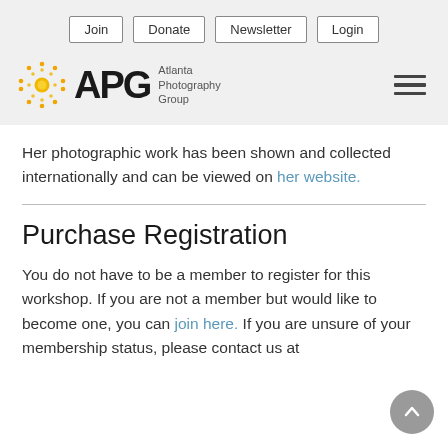Join | Donate | Newsletter | Login
[Figure (logo): APG Atlanta Photography Group logo with orange sun/dots icon on the left, large bold 'APG' letters, and text 'Atlanta Photography Group' to the right. Hamburger menu icon on the far right.]
Her photographic work has been shown and collected internationally and can be viewed on her website.
Purchase Registration
You do not have to be a member to register for this workshop. If you are not a member but would like to become one, you can join here. If you are unsure of your membership status, please contact us at